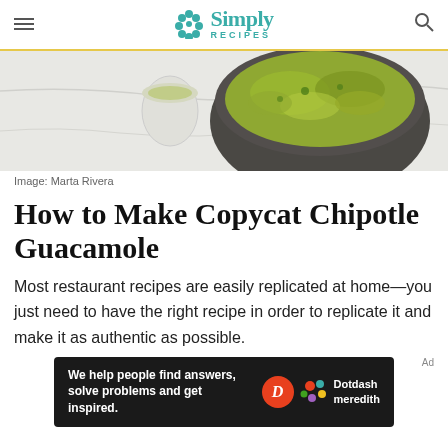Simply Recipes
[Figure (photo): Overhead photo of guacamole in a dark stone molcajete with a small glass bowl of lime juice on a white marble surface]
Image: Marta Rivera
How to Make Copycat Chipotle Guacamole
Most restaurant recipes are easily replicated at home—you just need to have the right recipe in order to replicate it and make it as authentic as possible.
[Figure (infographic): Dotdash Meredith advertisement banner: 'We help people find answers, solve problems and get inspired.' with D logo and Dotdash meredith branding]